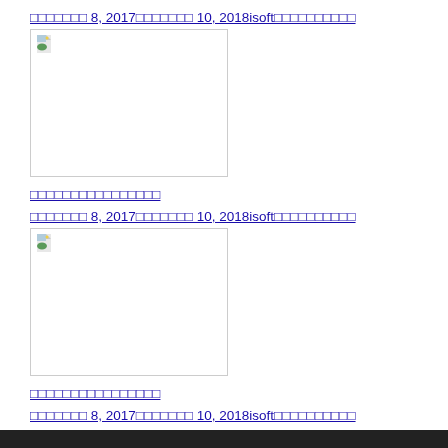□□□□□□□ 8, 2017□□□□□□□ 10, 2018isoft□□□□□□□□□□
[Figure (photo): Broken/missing image placeholder with document icon]
□□□□□□□□□□□□□□□□
□□□□□□□ 8, 2017□□□□□□□ 10, 2018isoft□□□□□□□□□□
[Figure (photo): Broken/missing image placeholder with document icon]
□□□□□□□□□□□□□□□□
□□□□□□□ 8, 2017□□□□□□□ 10, 2018isoft□□□□□□□□□□